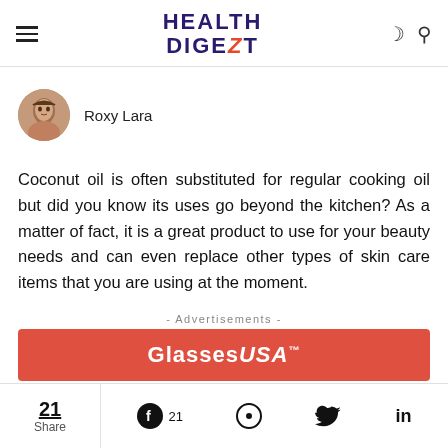HEALTH DIGEZT
Roxy Lara
Coconut oil is often substituted for regular cooking oil but did you know its uses go beyond the kitchen? As a matter of fact, it is a great product to use for your beauty needs and can even replace other types of skin care items that you are using at the moment.
- Advertisements -
[Figure (screenshot): GlassesUSA advertisement banner with red background]
21 Share | 21 (Facebook) | Pinterest | Twitter | LinkedIn